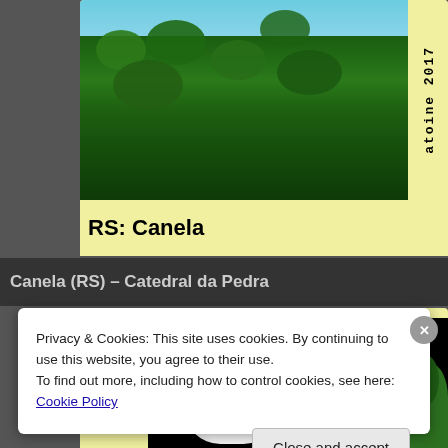[Figure (photo): Photo of leafy tree with red berries against blue sky, with watermark text 'atoine 2017' rotated vertically on right side]
RS: Canela
Canela (RS) – Catedral da Pedra
[Figure (photo): Photo of a white cat against black background with green plant visible on right]
Privacy & Cookies: This site uses cookies. By continuing to use this website, you agree to their use.
To find out more, including how to control cookies, see here: Cookie Policy
Close and accept